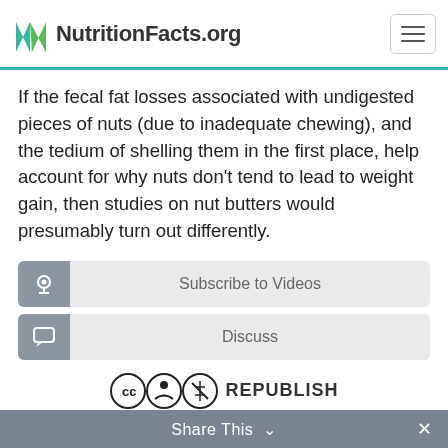NutritionFacts.org
If the fecal fat losses associated with undigested pieces of nuts (due to inadequate chewing), and the tedium of shelling them in the first place, help account for why nuts don't tend to lead to weight gain, then studies on nut butters would presumably turn out differently.
Subscribe to Videos
Discuss
REPUBLISH
Share This